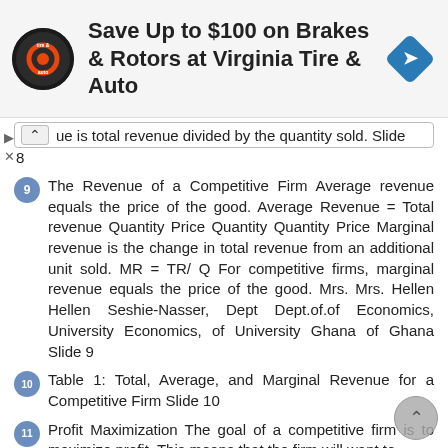[Figure (other): Advertisement banner: Save Up to $100 on Brakes & Rotors at Virginia Tire & Auto, with circular logo and blue diamond navigation icon]
ue is total revenue divided by the quantity sold. Slide 8
9  The Revenue of a Competitive Firm Average revenue equals the price of the good. Average Revenue = Total revenue Quantity Price Quantity Quantity Price Marginal revenue is the change in total revenue from an additional unit sold. MR = TR/ Q For competitive firms, marginal revenue equals the price of the good. Mrs. Mrs. Hellen Hellen Seshie-Nasser, Dept Dept.of.of Economics, University Economics, of University Ghana of Ghana Slide 9
10  Table 1: Total, Average, and Marginal Revenue for a Competitive Firm Slide 10
11  Profit Maximization The goal of a competitive firm is to maximize profit. This means that the firm will want to